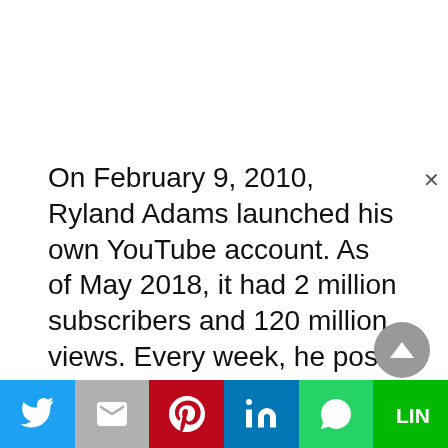On February 9, 2010, Ryland Adams launched his own YouTube account. As of May 2018, it had 2 million subscribers and 120 million views. Every week, he posts films on a variety of themes, and the most of them receive over a million views. In just five months, the channel's most popular video, 'Lie Detector Test on My Boyfriend *Emotional*,' received 4.5 million views. In just one month, the film 'James Charles Turned Me Into James Charles' acquired over 3 million views!In 2013, he launched Utubular, a pop culture YouTube channel.